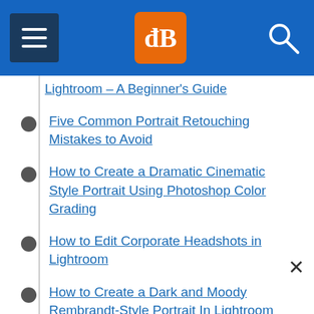dPS navigation header with menu, logo, and search
Lightroom – A Beginner's Guide
Five Common Portrait Retouching Mistakes to Avoid
How to Create a Dramatic Cinematic Style Portrait Using Photoshop Color Grading
How to Edit Corporate Headshots in Lightroom
How to Create a Dark and Moody Rembrandt-Style Portrait In Lightroom
How to Retouch a Portrait with the Adjustment Brush in Lightroom